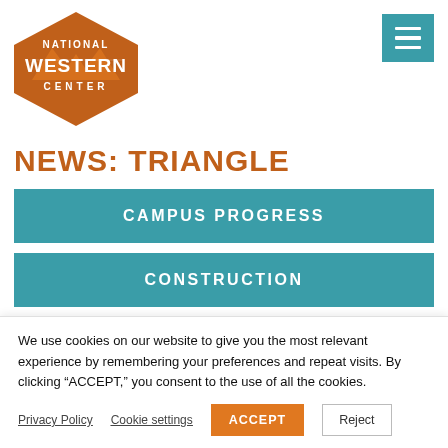[Figure (logo): National Western Center logo — orange diamond/mountain shape with white text reading NATIONAL WESTERN CENTER]
NEWS: TRIANGLE
CAMPUS PROGRESS
CONSTRUCTION
We use cookies on our website to give you the most relevant experience by remembering your preferences and repeat visits. By clicking “ACCEPT,” you consent to the use of all the cookies.
Privacy Policy   Cookie settings   ACCEPT   Reject